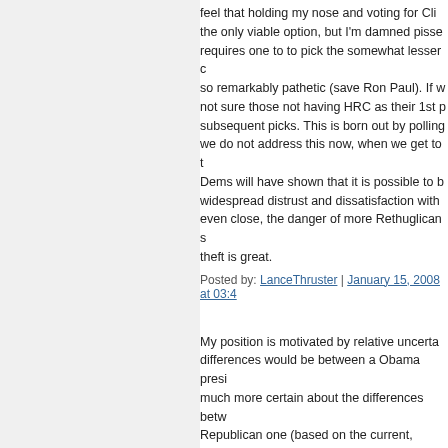feel that holding my nose and voting for Cli the only viable option, but I'm damned pisse requires one to to pick the somewhat lesser c so remarkably pathetic (save Ron Paul). If w not sure those not having HRC as their 1st p subsequent picks. This is born out by polling we do not address this now, when we get to t Dems will have shown that it is possible to b widespread distrust and dissatisfaction with even close, the danger of more Rethuglican s theft is great.
Posted by: LanceThruster | January 15, 2008 at 03:4
My position is motivated by relative uncerta differences would be between a Obama presi much more certain about the differences betw Republican one (based on the current, seriou
Anyway, picking the lesser of two evils may is picked, shall we?
Posted by: Mithras | January 15, 2008 at 04:15 PM